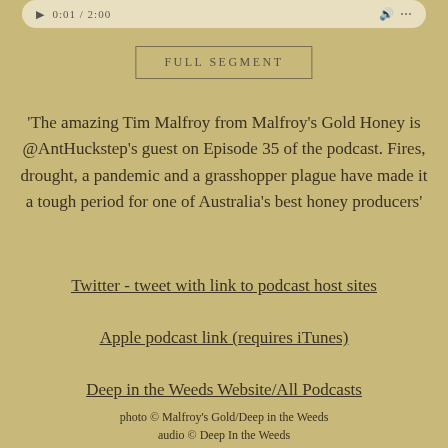[Figure (screenshot): Audio player bar at top of page showing playback controls and time]
FULL SEGMENT
'The amazing Tim Malfroy from Malfroy's Gold Honey is @AntHuckstep's guest on Episode 35 of the podcast. Fires, drought, a pandemic and a grasshopper plague have made it a tough period for one of Australia's best honey producers'
Twitter - tweet with link to podcast host sites
Apple podcast link (requires iTunes)
Deep in the Weeds Website/All Podcasts
photo © Malfroy's Gold/Deep in the Weeds
audio © Deep In the Weeds